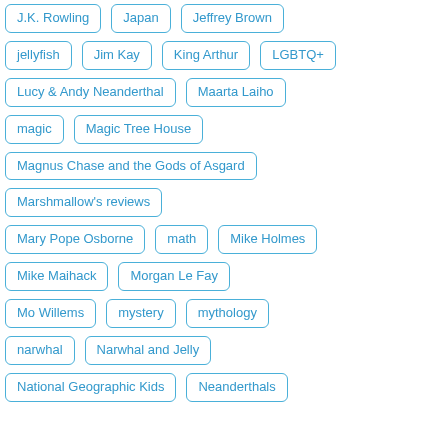J.K. Rowling
Japan
Jeffrey Brown
jellyfish
Jim Kay
King Arthur
LGBTQ+
Lucy & Andy Neanderthal
Maarta Laiho
magic
Magic Tree House
Magnus Chase and the Gods of Asgard
Marshmallow's reviews
Mary Pope Osborne
math
Mike Holmes
Mike Maihack
Morgan Le Fay
Mo Willems
mystery
mythology
narwhal
Narwhal and Jelly
National Geographic Kids
Neanderthals